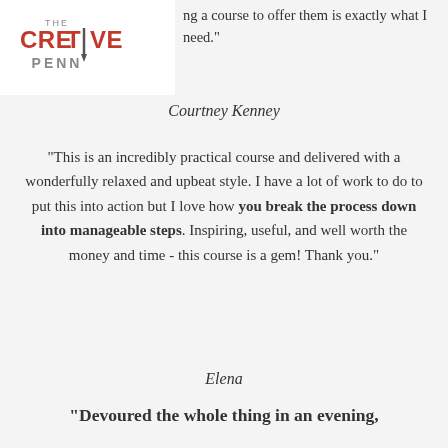[Figure (logo): The Creative Penn logo with red text and pen icon]
ng a course to offer them is exactly what I need."
Courtney Kenney
"This is an incredibly practical course and delivered with a wonderfully relaxed and upbeat style. I have a lot of work to do to put this into action but I love how you break the process down into manageable steps. Inspiring, useful, and well worth the money and time - this course is a gem! Thank you."
Elena
"Devoured the whole thing in an evening,